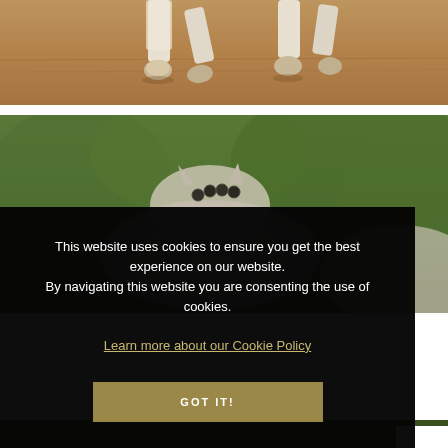[Figure (photo): Close-up of horse hooves and lower legs on sandy ground, with white leg wraps/bandages]
[Figure (photo): Top-down view of a white/grey horse's back and mane with decorative studs, green trees in background]
This website uses cookies to ensure you get the best experience on our website. By navigating this website you are consenting the use of cookies.
Learn more about our Cookie Policy
GOT IT!
[Figure (photo): Partial view of greenery/trees at bottom of page]